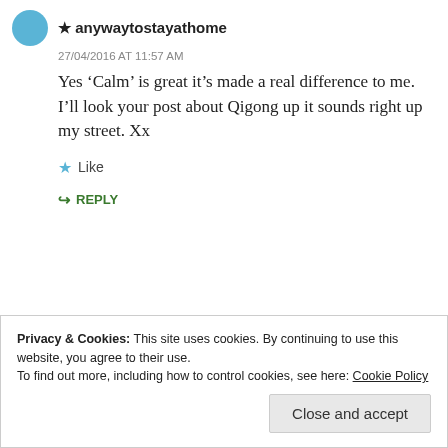★ anywaytostayathome
27/04/2016 AT 11:57 AM
Yes 'Calm' is great it's made a real difference to me. I'll look your post about Qigong up it sounds right up my street. Xx
★ Like
↪ REPLY
Privacy & Cookies: This site uses cookies. By continuing to use this website, you agree to their use.
To find out more, including how to control cookies, see here: Cookie Policy
Close and accept